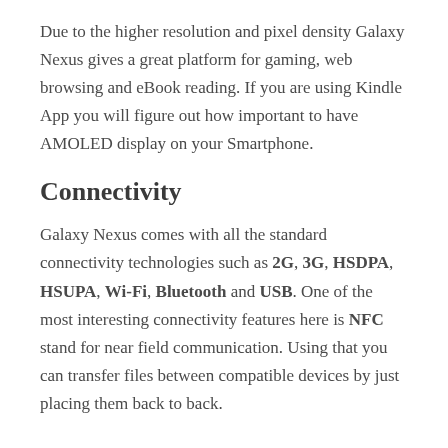Due to the higher resolution and pixel density Galaxy Nexus gives a great platform for gaming, web browsing and eBook reading. If you are using Kindle App you will figure out how important to have AMOLED display on your Smartphone.
Connectivity
Galaxy Nexus comes with all the standard connectivity technologies such as 2G, 3G, HSDPA, HSUPA, Wi-Fi, Bluetooth and USB. One of the most interesting connectivity features here is NFC stand for near field communication. Using that you can transfer files between compatible devices by just placing them back to back.